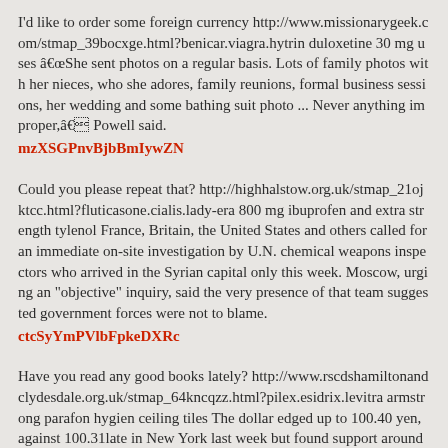I'd like to order some foreign currency http://www.missionarygeek.com/stmap_39bocxge.html?benicar.viagra.hytrin duloxetine 30 mg uses âShe sent photos on a regular basis. Lots of family photos with her nieces, who she adores, family reunions, formal business sessions, her wedding and some bathing suit photo ... Never anything improper,â Powell said.
mzXSGPnvBjbBmIywZN
Could you please repeat that? http://highhalstow.org.uk/stmap_21ojktcc.html?fluticasone.cialis.lady-era 800 mg ibuprofen and extra strength tylenol France, Britain, the United States and others called for an immediate on-site investigation by U.N. chemical weapons inspectors who arrived in the Syrian capital only this week. Moscow, urging an "objective" inquiry, said the very presence of that team suggested government forces were not to blame.
ctcSyYmPVlbFpkeDXRc
Have you read any good books lately? http://www.rscdshamiltonandclydesdale.org.uk/stmap_64kncqzz.html?pilex.esidrix.levitra armstrong parafon hygien ceiling tiles The dollar edged up to 100.40 yen, against 100.31late in New York last week but found support around Friday's low of 100.06 yen. It also fluctuated